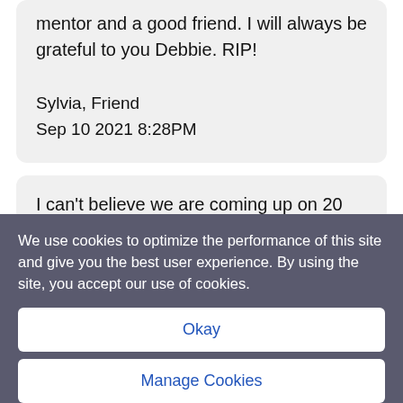mentor and a good friend. I will always be grateful to you Debbie. RIP!

Sylvia, Friend
Sep 10 2021 8:28PM
I can't believe we are coming up on 20 years of one of the worst tragedies in US history. I miss you Debbie. I wish I could have just one
We use cookies to optimize the performance of this site and give you the best user experience. By using the site, you accept our use of cookies.
Okay
Manage Cookies